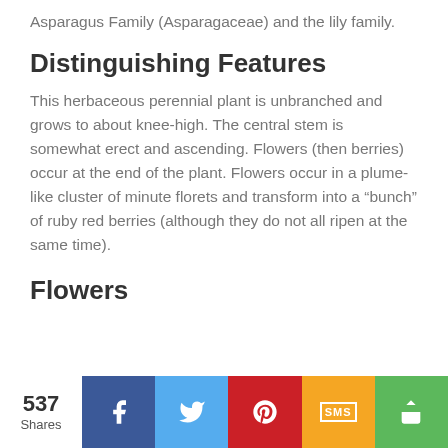Asparagus Family (Asparagaceae) and the lily family.
Distinguishing Features
This herbaceous perennial plant is unbranched and grows to about knee-high. The central stem is somewhat erect and ascending. Flowers (then berries) occur at the end of the plant. Flowers occur in a plume-like cluster of minute florets and transform into a “bunch” of ruby red berries (although they do not all ripen at the same time).
Flowers
537 Shares | Facebook | Twitter | Pinterest | SMS | Share